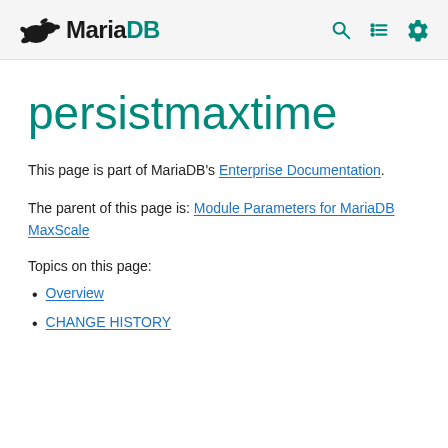MariaDB [logo] with search, list, and settings icons
persistmaxtime
This page is part of MariaDB's Enterprise Documentation.
The parent of this page is: Module Parameters for MariaDB MaxScale
Topics on this page:
Overview
CHANGE HISTORY